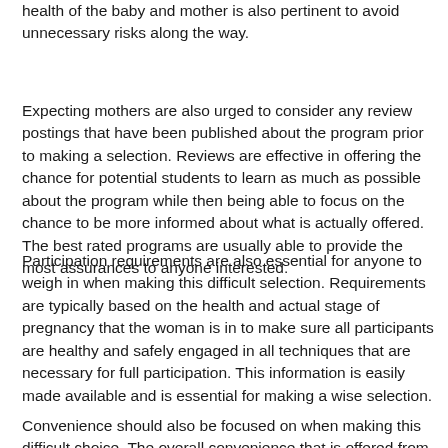health of the baby and mother is also pertinent to avoid unnecessary risks along the way.
Expecting mothers are also urged to consider any review postings that have been published about the program prior to making a selection. Reviews are effective in offering the chance for potential students to learn as much as possible about the program while then being able to focus on the chance to be more informed about what is actually offered. The best rated programs are usually able to provide the most assurances to anyone interested.
Participation requirements are also essential for anyone to weigh in when making this difficult selection. Requirements are typically based on the health and actual stage of pregnancy that the woman is in to make sure all participants are healthy and safely engaged in all techniques that are necessary for full participation. This information is easily made available and is essential for making a wise selection.
Convenience should also be focused on when making this difficult choice. The overall convenience that is offered from